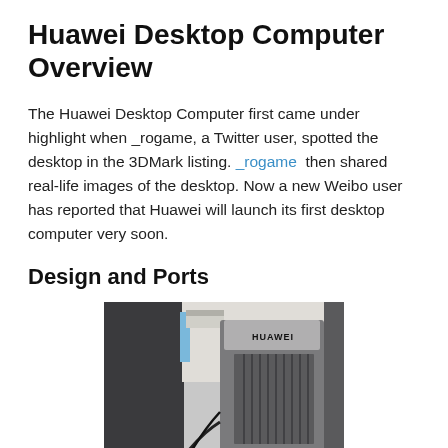Huawei Desktop Computer Overview
The Huawei Desktop Computer first came under highlight when _rogame, a Twitter user, spotted the desktop in the 3DMark listing. _rogame then shared real-life images of the desktop. Now a new Weibo user has reported that Huawei will launch its first desktop computer very soon.
Design and Ports
[Figure (photo): Photo of a Huawei desktop computer tower with vertical ventilation grilles and the HUAWEI logo on top, placed next to a dark monitor.]